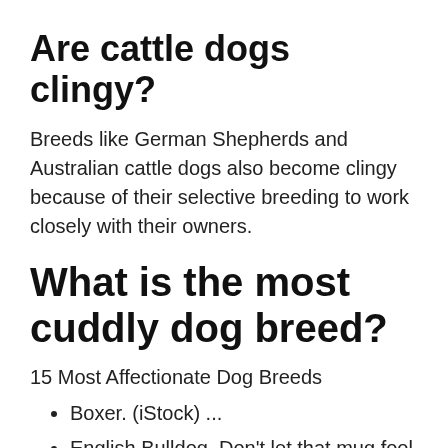Are cattle dogs clingy?
Breeds like German Shepherds and Australian cattle dogs also become clingy because of their selective breeding to work closely with their owners.
What is the most cuddly dog breed?
15 Most Affectionate Dog Breeds
Boxer. (iStock) ...
English Bulldog. Don't let that mug fool you. ...
Cardigan Welsh Corgi. It's not just their